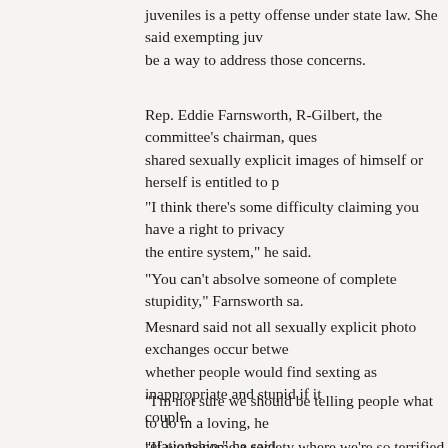juveniles is a petty offense under state law. She said exempting juv be a way to address those concerns.
Rep. Eddie Farnsworth, R-Gilbert, the committee's chairman, ques shared sexually explicit images of himself or herself is entitled to p
“I think there’s some difficulty claiming you have a right to privacy the entire system,” he said.
“You can’t absolve someone of complete stupidity,” Farnsworth sa.
Mesnard said not all sexually explicit photo exchanges occur betwe whether people would find sexting as inappropriate and stupid if it couple.
“I’m not sure we should be telling people what to do in a loving, he relationship,” he said.
“If we become a society where we’re so terrified of what someone that’s just sad,” he added.
Rep. Justin Pierce, R-Mesa, said that he’s concerned about sendin